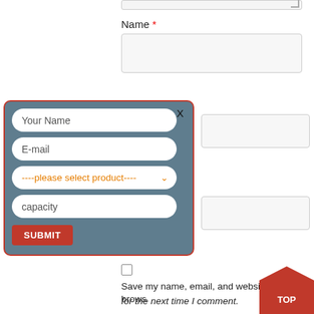[Figure (screenshot): Top portion of a textarea input with resize handle visible at bottom right corner]
Name *
[Figure (screenshot): Empty text input field for Name]
[Figure (screenshot): Modal popup form with dark blue-grey background and red border containing fields: Your Name, E-mail, product selector dropdown, capacity, and a red SUBMIT button. Close X in top right corner.]
[Figure (screenshot): Empty input field to the right of modal (Email area)]
[Figure (screenshot): Empty input field to the right of modal (Website area)]
[Figure (screenshot): Unchecked checkbox]
Save my name, email, and website in this brows
for the next time I comment.
[Figure (infographic): Red diamond/pentagon shape with TOP text label in white, positioned at bottom right corner]